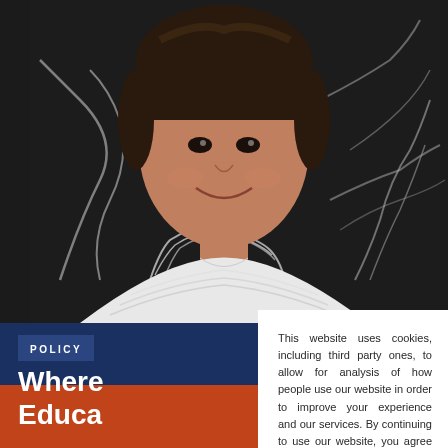[Figure (photo): A smiling child/student in front of a dark chalkboard with chalk drawings behind them, wearing a white shirt]
POLICY
Where Education
This website uses cookies, including third party ones, to allow for analysis of how people use our website in order to improve your experience and our services. By continuing to use our website, you agree to the use of such cookies.
I ACCEPT
Privacy Policy